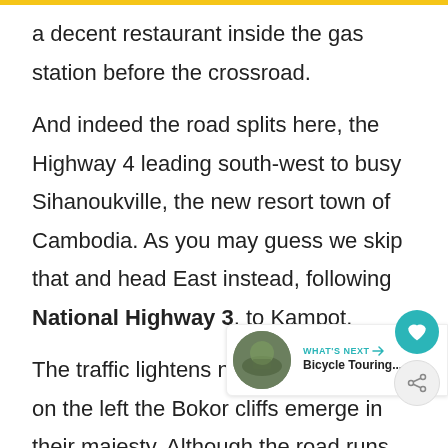a decent restaurant inside the gas station before the crossroad.
And indeed the road splits here, the Highway 4 leading south-west to busy Sihanoukville, the new resort town of Cambodia. As you may guess we skip that and head East instead, following National Highway 3, to Kampot.
The traffic lightens noticeably, finally, on the left the Bokor cliffs emerge in their majesty. Although the road runs along the coast, there are spots from where the sea is visible, through this